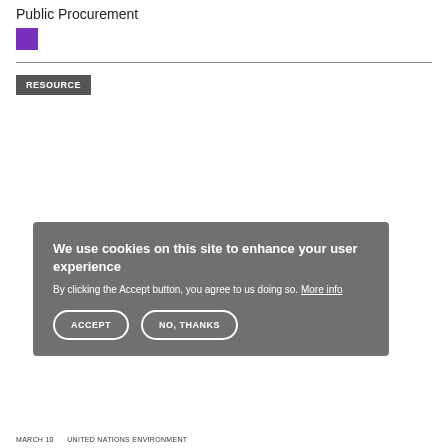Public Procurement
[Figure (other): Purple filled square decorative element]
RESOURCE
We use cookies on this site to enhance your user experience
By clicking the Accept button, you agree to us doing so. More info
ACCEPT  NO, THANKS
MARCH 10 · UNITED NATIONS ENVIRONMENT